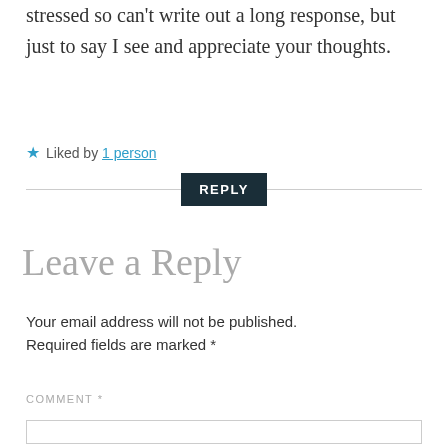stressed so can't write out a long response, but just to say I see and appreciate your thoughts.
★ Liked by 1 person
REPLY
Leave a Reply
Your email address will not be published. Required fields are marked *
COMMENT *